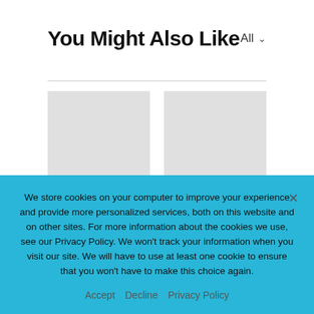You Might Also Like
All
[Figure (screenshot): Article card image placeholder (gray rectangle) with MACHINE LEARNING badge]
Daily AI Roundup: Biggest Machine Learning...
[Figure (screenshot): Article card image placeholder (gray rectangle) with SECURITY badge]
OSI Systems Receives $22 Million Order to Provide Security...
We store cookies on your computer to improve your experience and provide more personalized services, both on this website and on other sites. For more information about the cookies we use, see our Privacy Policy. We won't track your information when you visit our site. We will have to use at least one cookie to ensure that you won't have to make this choice again.
Accept   Decline   Privacy Policy